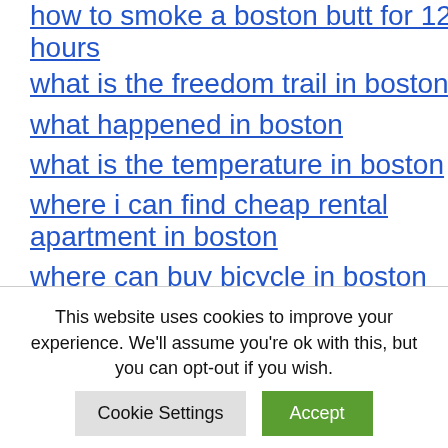how to smoke a boston butt for 12 hours
what is the freedom trail in boston
what happened in boston
what is the temperature in boston
where i can find cheap rental apartment in boston
where can buy bicycle in boston
what stop for encore boston
This website uses cookies to improve your experience. We'll assume you're ok with this, but you can opt-out if you wish.